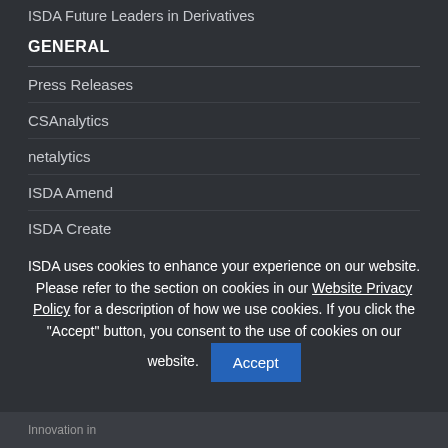ISDA Future Leaders in Derivatives
GENERAL
Press Releases
CSAnalytics
netalytics
ISDA Amend
ISDA Create
Terms and Conditions
ISDA fosters safe and efficient
derivatives markets to facilitate
ISDA uses cookies to enhance your experience on our website. Please refer to the section on cookies in our Website Privacy Policy for a description of how we use cookies. If you click the "Accept" button, you consent to the use of cookies on our website.
Innovation in